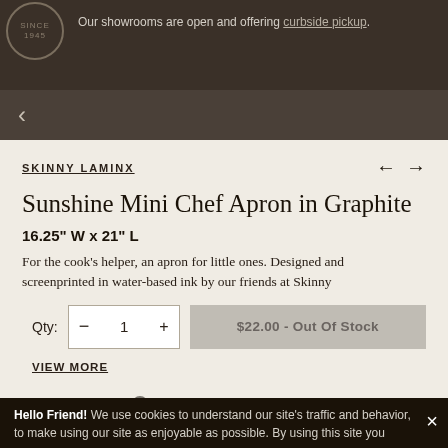Our showrooms are open and offering curbside pickup.
< (back navigation)
SKINNY LAMINX
Sunshine Mini Chef Apron in Graphite
16.25" W x 21" L
For the cook's helper, an apron for little ones. Designed and screenprinted in water-based ink by our friends at Skinny
Qty: - 1 +  $22.00 - Out Of Stock
VIEW MORE
LIMITED STOCK ? SKU: SK-359
Hello Friend! We use cookies to understand our site's traffic and behavior, to make using our site as enjoyable as possible. By using this site you